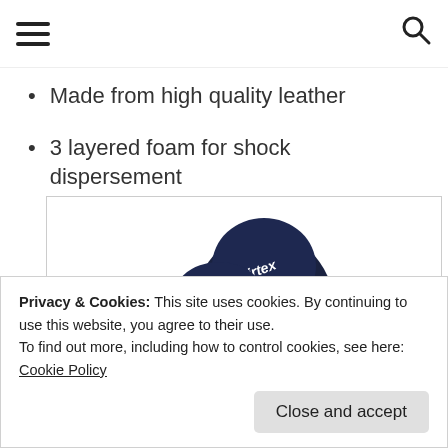Navigation bar with hamburger menu and search icon
Made from high quality leather
3 layered foam for shock dispersement
[Figure (photo): Fairtex boxing gloves in navy blue with white Fairtex logo and circular brand badge on the wrist strap]
We use cookies on our website to give you the most relevant
Privacy & Cookies: This site uses cookies. By continuing to use this website, you agree to their use.
To find out more, including how to control cookies, see here: Cookie Policy
Close and accept